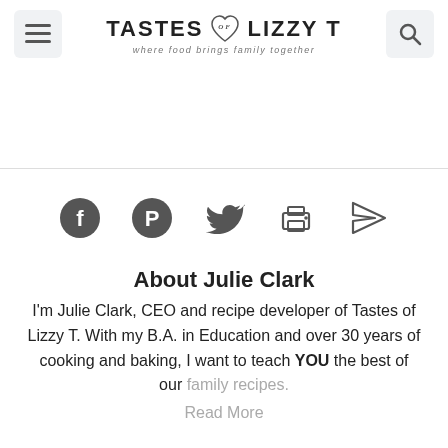TASTES of LIZZY T — where food brings family together
[Figure (infographic): Social sharing icons: Facebook, Pinterest, Twitter, Print, Email/Send]
About Julie Clark
I'm Julie Clark, CEO and recipe developer of Tastes of Lizzy T. With my B.A. in Education and over 30 years of cooking and baking, I want to teach YOU the best of our family recipes.
Read More